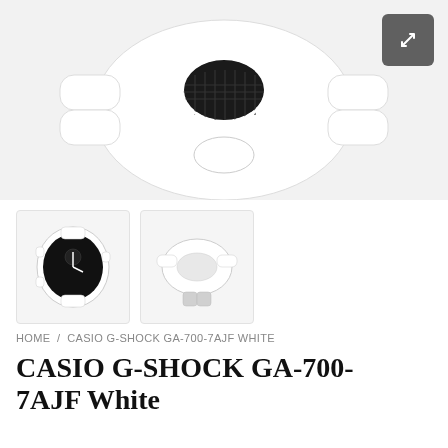[Figure (photo): Product photo of white Casio G-Shock GA-700-7AJF watch from top-back angle showing lugs and black mesh detail, white background]
[Figure (photo): Thumbnail 1: front face view of white Casio G-Shock watch with black dial]
[Figure (photo): Thumbnail 2: top/back view of white Casio G-Shock watch]
HOME / CASIO G-SHOCK GA-700-7AJF WHITE
CASIO G-SHOCK GA-700-7AJF White
$96.25
Tax included.